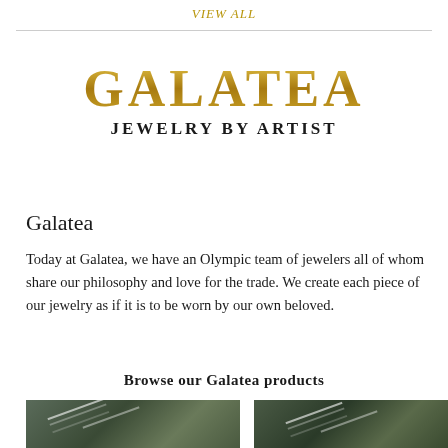VIEW ALL
GALATEA
JEWELRY BY ARTIST
Galatea
Today at Galatea, we have an Olympic team of jewelers all of whom share our philosophy and love for the trade. We create each piece of our jewelry as if it is to be worn by our own beloved.
Browse our Galatea products
[Figure (photo): Two product photos of Galatea jewelry pieces showing necklaces on dark backgrounds]